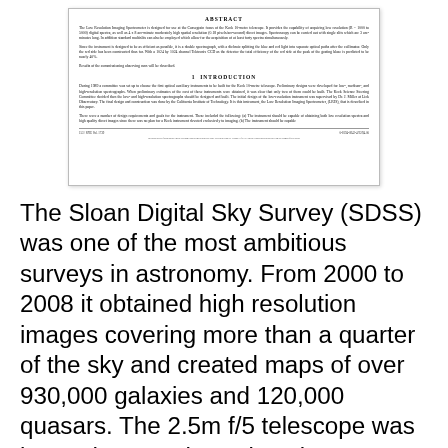[Figure (screenshot): Scanned/rendered page of a scientific paper showing an ABSTRACT section and beginning of INTRODUCTION section, with text about a Low Resolution Imaging Spectrometer designed for use at the Cassegrain focus of the Keck 10-metre telescope, and footer with page number and date.]
The Sloan Digital Sky Survey (SDSS) was one of the most ambitious surveys in astronomy. From 2000 to 2008 it obtained high resolution images covering more than a quarter of the sky and created maps of over 930,000 galaxies and 120,000 quasars. The 2.5m f/5 telescope was located at Apache Point Observatory in south east New Mexico. The imaging camera utilized 30 Tektronix/SITe 2048 x 2048 CCDs arranged in a 6 x 5 matrix. A 20" aperture photometric telescope